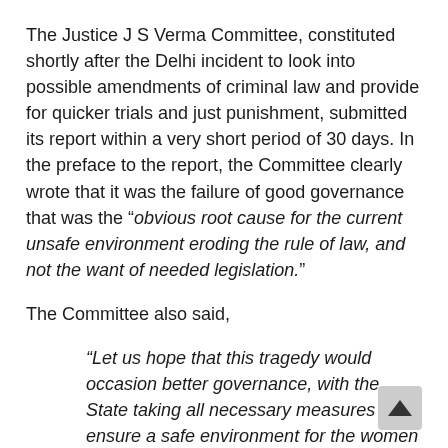The Justice J S Verma Committee, constituted shortly after the Delhi incident to look into possible amendments of criminal law and provide for quicker trials and just punishment, submitted its report within a very short period of 30 days. In the preface to the report, the Committee clearly wrote that it was the failure of good governance that was the “obvious root cause for the current unsafe environment eroding the rule of law, and not the want of needed legislation.”
The Committee also said,
“Let us hope that this tragedy would occasion better governance, with the State taking all necessary measures to ensure a safe environment for the women in the country, thus preventing the recurrence of such sexual violence.”